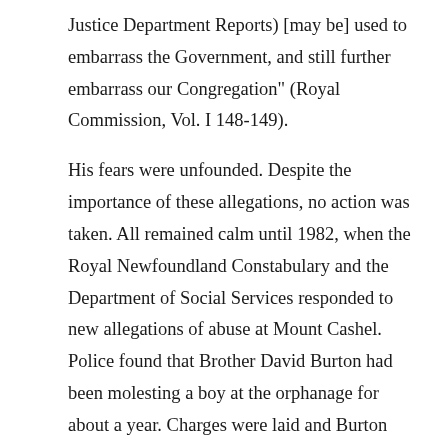Justice Department Reports) [may be] used to embarrass the Government, and still further embarrass our Congregation" (Royal Commission, Vol. I 148-149).
His fears were unfounded. Despite the importance of these allegations, no action was taken. All remained calm until 1982, when the Royal Newfoundland Constabulary and the Department of Social Services responded to new allegations of abuse at Mount Cashel. Police found that Brother David Burton had been molesting a boy at the orphanage for about a year. Charges were laid and Burton was sentenced to four months in jail and three years probation. The Court of Appeal reduced